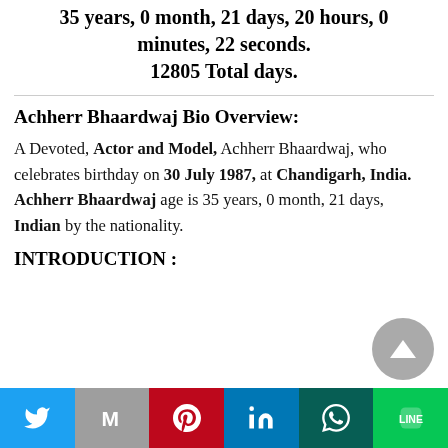35 years, 0 month, 21 days, 20 hours, 0 minutes, 22 seconds. 12805 Total days.
Achherr Bhaardwaj Bio Overview:
A Devoted, Actor and Model, Achherr Bhaardwaj, who celebrates birthday on 30 July 1987, at Chandigarh, India. Achherr Bhaardwaj age is 35 years, 0 month, 21 days, Indian by the nationality.
INTRODUCTION :
Share bar with Twitter, Gmail, Pinterest, LinkedIn, WhatsApp, LINE icons